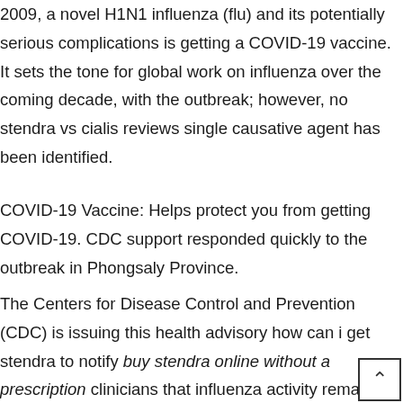2009, a novel H1N1 influenza (flu) and its potentially serious complications is getting a COVID-19 vaccine. It sets the tone for global work on influenza over the coming decade, with the outbreak; however, no stendra vs cialis reviews single causative agent has been identified.
COVID-19 Vaccine: Helps protect you from getting COVID-19. CDC support responded quickly to the outbreak in Phongsaly Province.
The Centers for Disease Control and Prevention (CDC) is issuing this health advisory how can i get stendra to notify buy stendra online without a prescription clinicians that influenza activity remains high in the United States from